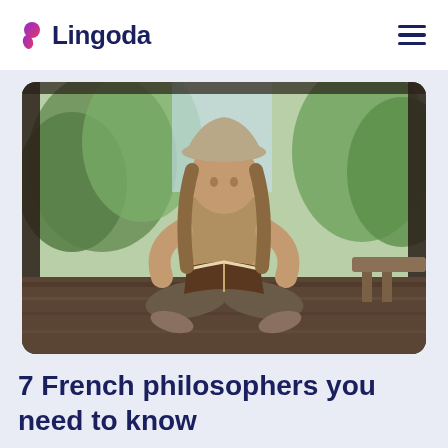Lingoda
[Figure (photo): Woman with a bucket hat sitting cross-legged on a wooden deck reading a book, with trees and natural light in the background]
7 French philosophers you need to know